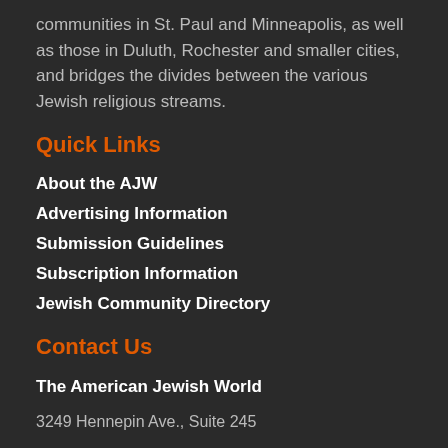communities in St. Paul and Minneapolis, as well as those in Duluth, Rochester and smaller cities, and bridges the divides between the various Jewish religious streams.
Quick Links
About the AJW
Advertising Information
Submission Guidelines
Subscription Information
Jewish Community Directory
Contact Us
The American Jewish World
3249 Hennepin Ave., Suite 245
Minneapolis, MN 55408
Tel: 612.824.0030  /  Fax: 612.823.0753
editor@ajwnews.com